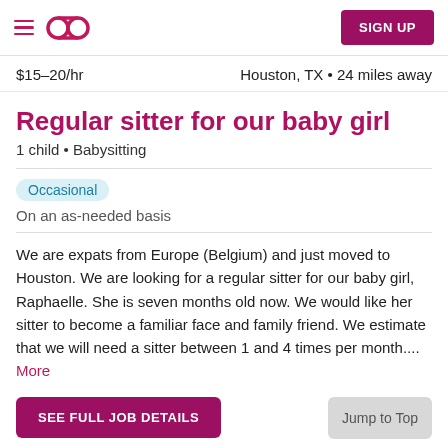Sittercity app header with hamburger menu, logo, and SIGN UP button
$15–20/hr   Houston, TX • 24 miles away
Regular sitter for our baby girl
1 child • Babysitting
Occasional
On an as-needed basis
We are expats from Europe (Belgium) and just moved to Houston. We are looking for a regular sitter for our baby girl, Raphaelle. She is seven months old now. We would like her sitter to become a familiar face and family friend. We estimate that we will need a sitter between 1 and 4 times per month.... More
SEE FULL JOB DETAILS   Jump to Top